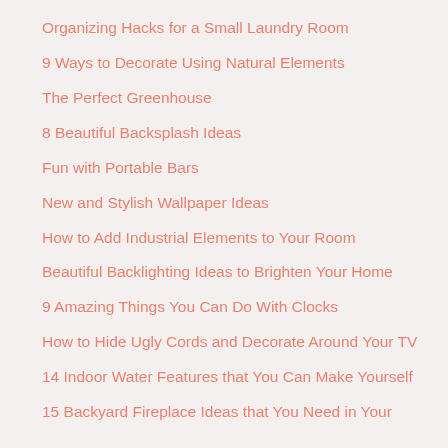Organizing Hacks for a Small Laundry Room
9 Ways to Decorate Using Natural Elements
The Perfect Greenhouse
8 Beautiful Backsplash Ideas
Fun with Portable Bars
New and Stylish Wallpaper Ideas
How to Add Industrial Elements to Your Room
Beautiful Backlighting Ideas to Brighten Your Home
9 Amazing Things You Can Do With Clocks
How to Hide Ugly Cords and Decorate Around Your TV
14 Indoor Water Features that You Can Make Yourself
15 Backyard Fireplace Ideas that You Need in Your